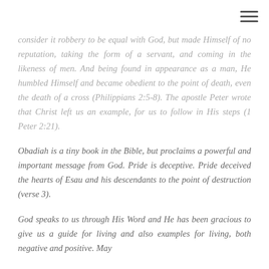[Figure (other): Hamburger menu icon in top-right corner]
consider it robbery to be equal with God, but made Himself of no reputation, taking the form of a servant, and coming in the likeness of men. And being found in appearance as a man, He humbled Himself and became obedient to the point of death, even the death of a cross (Philippians 2:5-8). The apostle Peter wrote that Christ left us an example, for us to follow in His steps (1 Peter 2:21).
Obadiah is a tiny book in the Bible, but proclaims a powerful and important message from God. Pride is deceptive. Pride deceived the hearts of Esau and his descendants to the point of destruction (verse 3).
God speaks to us through His Word and He has been gracious to give us a guide for living and also examples for living, both negative and positive. May